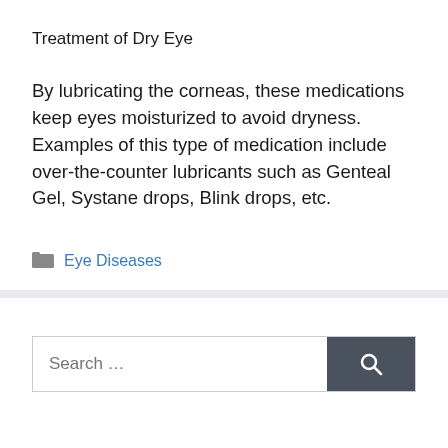Treatment of Dry Eye
By lubricating the corneas, these medications keep eyes moisturized to avoid dryness. Examples of this type of medication include over-the-counter lubricants such as Genteal Gel, Systane drops, Blink drops, etc.
Eye Diseases